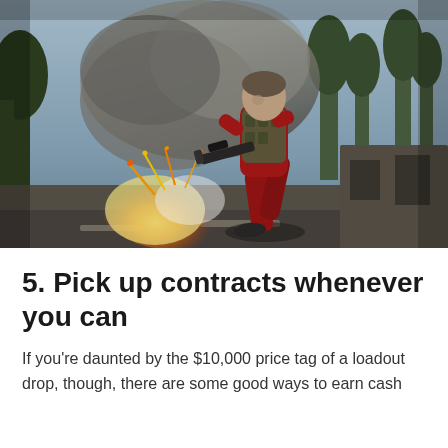[Figure (photo): A video game character in a red tracksuit and tactical vest runs toward the camera carrying an assault rifle, with a fiery explosion behind them in an outdoor environment with trees in the background.]
5. Pick up contracts whenever you can
If you're daunted by the $10,000 price tag of a loadout drop, though, there are some good ways to earn cash